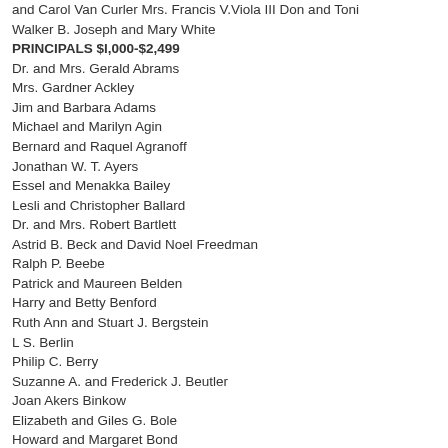and Carol Van Curler Mrs. Francis V.Viola III Don and Toni
Walker B. Joseph and Mary White
PRINCIPALS $l,000-$2,499
Dr. and Mrs. Gerald Abrams
Mrs. Gardner Ackley
Jim and Barbara Adams
Michael and Marilyn Agin
Bernard and Raquel Agranoff
Jonathan W. T. Ayers
Essel and Menakka Bailey
Lesli and Christopher Ballard
Dr. and Mrs. Robert Bartlett
Astrid B. Beck and David Noel Freedman
Ralph P. Beebe
Patrick and Maureen Belden
Harry and Betty Benford
Ruth Ann and Stuart J. Bergstein
L S. Berlin
Philip C. Berry
Suzanne A. and Frederick J. Beutler
Joan Akers Binkow
Elizabeth and Giles G. Bole
Howard and Margaret Bond
Bob and Sue Bonfield